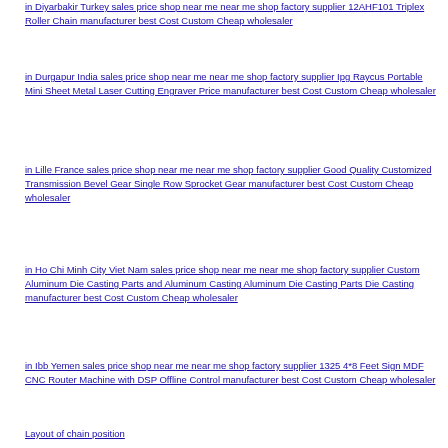in Diyarbakir Turkey sales price shop near me near me shop factory supplier 12AHF101 Triplex Roller Chain manufacturer best Cost Custom Cheap wholesaler
in Durgapur India sales price shop near me near me shop factory supplier Ipg Raycus Portable Mini Sheet Metal Laser Cutting Engraver Price manufacturer best Cost Custom Cheap wholesaler
in Lille France sales price shop near me near me shop factory supplier Good Quality Customized Transmission Bevel Gear Single Row Sprocket Gear manufacturer best Cost Custom Cheap wholesaler
in Ho Chi Minh City Viet Nam sales price shop near me near me shop factory supplier Custom Aluminum Die Casting Parts and Aluminum Casting Aluminum Die Casting Parts Die Casting manufacturer best Cost Custom Cheap wholesaler
in Ibb Yemen sales price shop near me near me shop factory supplier 1325 4*8 Feet Sign MDF CNC Router Machine with DSP Offline Control manufacturer best Cost Custom Cheap wholesaler
Layout of chain position
Chain Length and Sprocket Center Distance